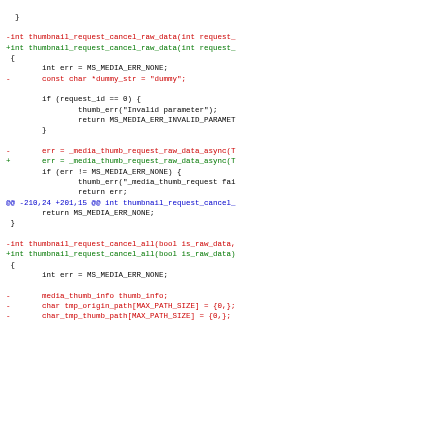Diff output of source code showing changes to thumbnail_request_cancel_raw_data and thumbnail_request_cancel_all functions